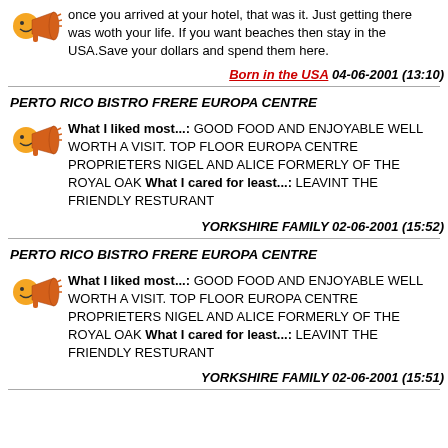once you arrived at your hotel, that was it. Just getting there was woth your life. If you want beaches then stay in the USA.Save your dollars and spend them here.
Born in the USA 04-06-2001 (13:10)
PERTO RICO BISTRO FRERE EUROPA CENTRE
What I liked most...: GOOD FOOD AND ENJOYABLE WELL WORTH A VISIT. TOP FLOOR EUROPA CENTRE PROPRIETERS NIGEL AND ALICE FORMERLY OF THE ROYAL OAK What I cared for least...: LEAVINT THE FRIENDLY RESTURANT
YORKSHIRE FAMILY 02-06-2001 (15:52)
PERTO RICO BISTRO FRERE EUROPA CENTRE
What I liked most...: GOOD FOOD AND ENJOYABLE WELL WORTH A VISIT. TOP FLOOR EUROPA CENTRE PROPRIETERS NIGEL AND ALICE FORMERLY OF THE ROYAL OAK What I cared for least...: LEAVINT THE FRIENDLY RESTURANT
YORKSHIRE FAMILY 02-06-2001 (15:51)